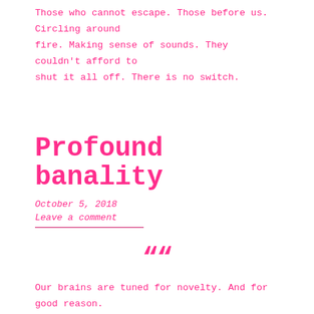Those who cannot escape. Those before us. Circling around fire. Making sense of sounds. They couldn't afford to shut it all off. There is no switch.
Profound banality
October 5, 2018
Leave a comment
““
Our brains are tuned for novelty. And for good reason. It’s adaptive to be responsive to new things in the environment. Changes, threats in the environment. We’re tuned to disregard the familiar or take it for granted, which is indeed what most of us do. One of the things that happens on psychedelics and on cannabis is that the